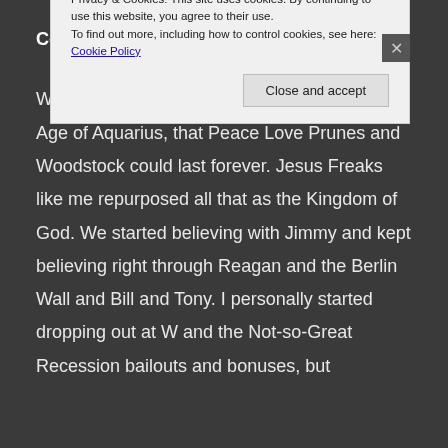Confessions of a believer.
We really thought we were on the brink of the Age of Aquarius, that Peace Love Prunes and Woodstock could last forever. Jesus Freaks like me repurposed all that as the Kingdom of God. We started believing with Jimmy and kept believing right through Reagan and the Berlin Wall and Bill and Tony. I personally started dropping out at W and the Not-so-Great Recession bailouts and bonuses, but
Privacy & Cookies: This site uses cookies. By continuing to use this website, you agree to their use. To find out more, including how to control cookies, see here: Cookie Policy
Close and accept